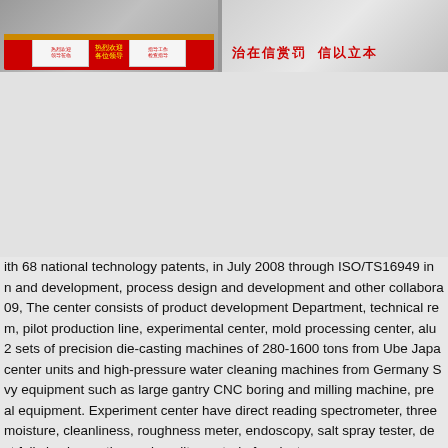[Figure (photo): Two photographs side by side at the top of the page. Left photo shows a red banner/stage setup with Chinese characters and yellow text in what appears to be a company or exhibition hall. Right photo shows a light-colored room or facility with red Chinese text reading 治在信赏罚 信以立本 on the wall.]
ith 68 national technology patents, in July 2008 through ISO/TS16949 in and development, process design and development and other collabora 09, The center consists of product development Department, technical re m, pilot production line, experimental center, mold processing center, alu 2 sets of precision die-casting machines of 280-1600 tons from Ube Japa center units and high-pressure water cleaning machines from Germany S vy equipment such as large gantry CNC boring and milling machine, pre al equipment. Experiment center have direct reading spectrometer, three moisture, cleanliness, roughness meter, endoscopy, salt spray tester, de ct full size inspection and quality control of projects.